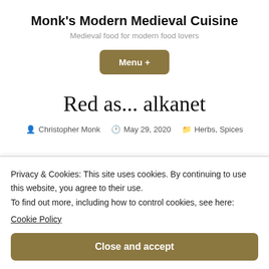Monk's Modern Medieval Cuisine
Medieval food for modern food lovers
Menu +
Red as... alkanet
Christopher Monk  May 29, 2020  Herbs, Spices
Privacy & Cookies: This site uses cookies. By continuing to use this website, you agree to their use.
To find out more, including how to control cookies, see here: Cookie Policy
Close and accept
Follow